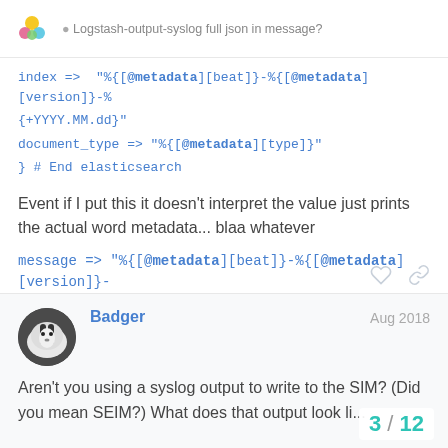Logstash-output-syslog full json in message?
index => "%{[@metadata][beat]}-%{[@metadata][version]}-%{+YYYY.MM.dd}"
document_type => "%{[@metadata][type]}"
} # End elasticsearch
Event if I put this it doesn't interpret the value just prints the actual word metadata... blaa whatever
message => "%{[@metadata][beat]}-%{[@metadata][version]}-%"
Badger Aug 2018
Aren't you using a syslog output to write to the SIM? (Did you mean SEIM?) What does that output look li...
3 / 12